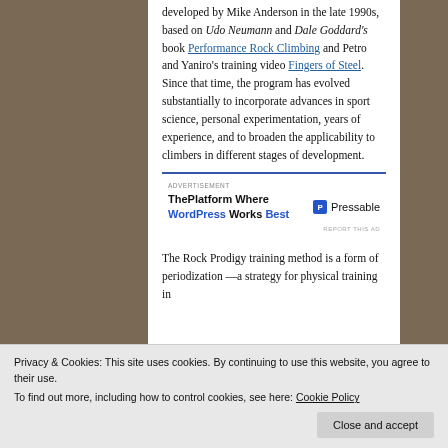developed by Mike Anderson in the late 1990s, based on Udo Neumann and Dale Goddard's book Performance Rock Climbing and Petro and Yaniro's training video Fingers of Steel. Since that time, the program has evolved substantially to incorporate advances in sport science, personal experimentation, years of experience, and to broaden the applicability to climbers in different stages of development.
[Figure (other): Advertisement banner: ThePlatform Where WordPress Works Best — Pressable]
The Rock Prodigy training method is a form of periodization — a strategy for physical training in
Privacy & Cookies: This site uses cookies. By continuing to use this website, you agree to their use.
To find out more, including how to control cookies, see here: Cookie Policy
Close and accept
endurance to sustain such moves. Through careful